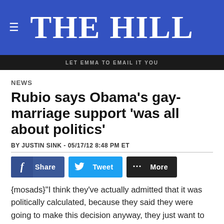THE HILL
[Figure (screenshot): Dark advertisement banner strip at top of content area]
NEWS
Rubio says Obama's gay-marriage support 'was all about politics'
BY JUSTIN SINK - 05/17/12 8:48 PM ET
[Figure (infographic): Social sharing buttons: Facebook Share, Twitter Tweet, More]
{mosads}"I think they've actually admitted that it was politically calculated, because they said they were going to make this decision anyway, they just want to do it closer to the convention. He admitted that he was g... nted it to be ... even more dramatic. So of course this was all about...
[Figure (screenshot): Overlay advertisement banner: SHE CAN STEM with close button]